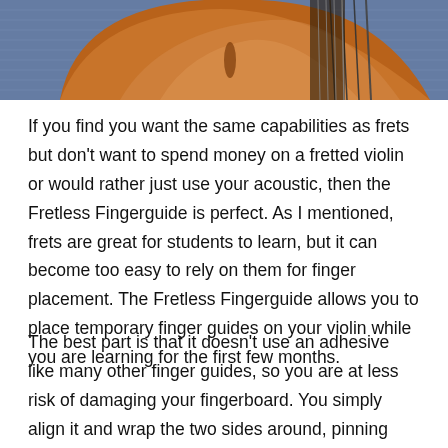[Figure (photo): Close-up photo of a violin body showing the orange-brown wood finish and strings against a denim blue background]
If you find you want the same capabilities as frets but don't want to spend money on a fretted violin or would rather just use your acoustic, then the Fretless Fingerguide is perfect. As I mentioned, frets are great for students to learn, but it can become too easy to rely on them for finger placement. The Fretless Fingerguide allows you to place temporary finger guides on your violin while you are learning for the first few months.
The best part is that it doesn't use an adhesive like many other finger guides, so you are at less risk of damaging your fingerboard. You simply align it and wrap the two sides around, pinning around the ends. The material will direct itself